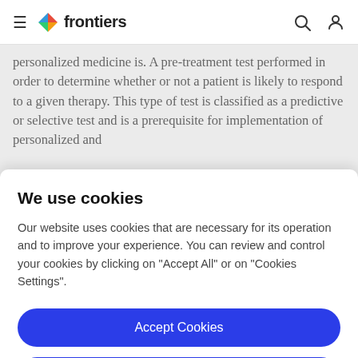frontiers
personalized medicine is. A pre-treatment test performed in order to determine whether or not a patient is likely to respond to a given therapy. This type of test is classified as a predictive or selective test and is a prerequisite for implementation of personalized and
We use cookies
Our website uses cookies that are necessary for its operation and to improve your experience. You can review and control your cookies by clicking on "Accept All" or on "Cookies Settings".
Accept Cookies
Cookies Settings